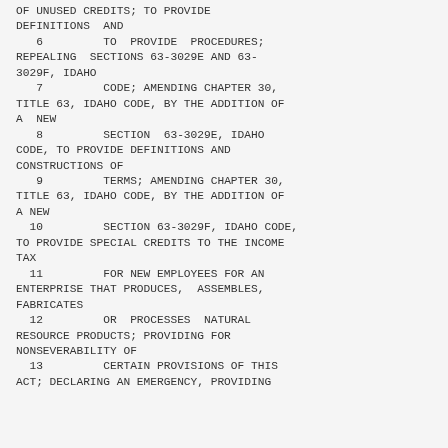OF UNUSED CREDITS; TO PROVIDE DEFINITIONS  AND
   6         TO  PROVIDE  PROCEDURES; REPEALING  SECTIONS 63-3029E AND 63-3029F, IDAHO
   7         CODE; AMENDING CHAPTER 30, TITLE 63, IDAHO CODE, BY THE ADDITION OF A  NEW
   8         SECTION  63-3029E, IDAHO CODE, TO PROVIDE DEFINITIONS AND CONSTRUCTIONS OF
   9         TERMS; AMENDING CHAPTER 30, TITLE 63, IDAHO CODE, BY THE ADDITION OF A NEW
  10         SECTION 63-3029F, IDAHO CODE, TO PROVIDE SPECIAL CREDITS TO THE INCOME TAX
  11         FOR NEW EMPLOYEES FOR AN ENTERPRISE THAT PRODUCES,  ASSEMBLES, FABRICATES
  12         OR  PROCESSES  NATURAL RESOURCE PRODUCTS; PROVIDING FOR NONSEVERABILITY OF
  13         CERTAIN PROVISIONS OF THIS ACT; DECLARING AN EMERGENCY, PROVIDING